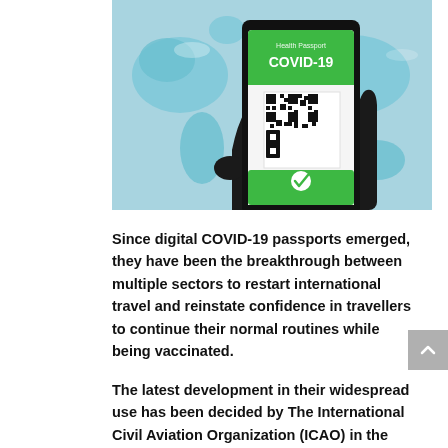[Figure (photo): A hand holding a smartphone displaying a green COVID-19 Health Passport with a QR code and a green check mark, against a background of a world map in blue tones.]
Since digital COVID-19 passports emerged, they have been the breakthrough between multiple sectors to restart international travel and reinstate confidence in travellers to continue their normal routines while being vaccinated.
The latest development in their widespread use has been decided by The International Civil Aviation Organization (ICAO) in the last week, who confirmed plans for a common, global health passport would be